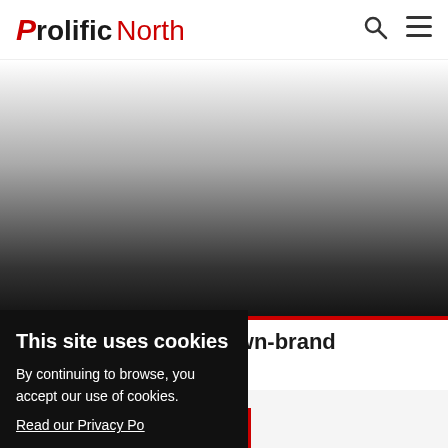Prolific North
[Figure (photo): Hero image area with gradient from white to dark gray/black, with red bar at bottom]
hes new 'Everyday' own-brand
This site uses cookies

By continuing to browse, you accept our use of cookies.

Read our Privacy Po...

I agree